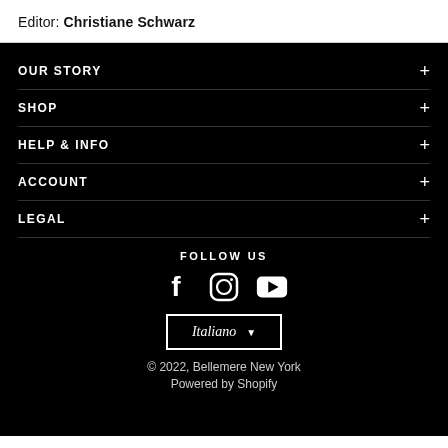Editor: Christiane Schwarz
OUR STORY +
SHOP +
HELP & INFO +
ACCOUNT +
LEGAL +
FOLLOW US
[Figure (illustration): Social media icons: Facebook, Instagram, YouTube]
Italiano ▼
© 2022, Bellemere New York
Powered by Shopify